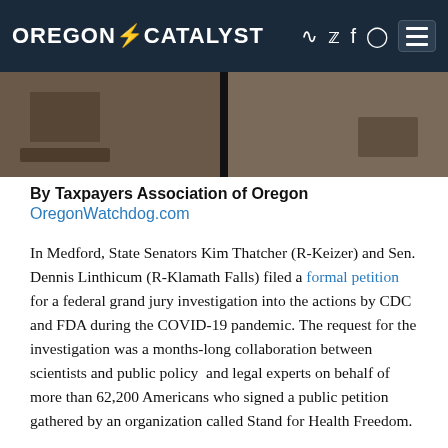OREGON CATALYST
[Figure (photo): Split photo showing two people at a desk or table, likely in a formal setting. Left panel shows documents and a laptop, right panel shows a person's hand on a surface.]
By Taxpayers Association of Oregon
OregonWatchdog.com
In Medford, State Senators Kim Thatcher (R-Keizer) and Sen. Dennis Linthicum (R-Klamath Falls) filed a formal petition for a federal grand jury investigation into the actions by CDC and FDA during the COVID-19 pandemic. The request for the investigation was a months-long collaboration between scientists and public policy  and legal experts on behalf of more than 62,200 Americans who signed a public petition gathered by an organization called Stand for Health Freedom.